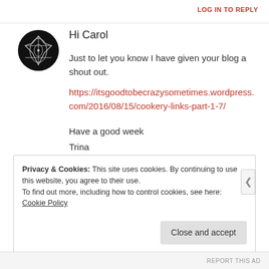LOG IN TO REPLY
Hi Carol
Just to let you know I have given your blog a shout out.
https://itsgoodtobecrazysometimes.wordpress.com/2016/08/15/cookery-links-part-1-7/

Have a good week
Trina
★ Liked by 2 people
Privacy & Cookies: This site uses cookies. By continuing to use this website, you agree to their use.
To find out more, including how to control cookies, see here: Cookie Policy
Close and accept